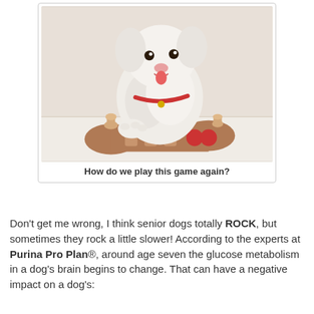[Figure (photo): A small white fluffy dog (Bichon Frise or similar breed) sitting behind a wooden puzzle toy shaped like a bone with round pegs and circular sliding pieces in red and tan colors.]
How do we play this game again?
Don't get me wrong, I think senior dogs totally ROCK, but sometimes they rock a little slower!  According to the experts at Purina Pro Plan®, around age seven the glucose metabolism in a dog's brain begins to change.  That can have a negative impact on a dog's: